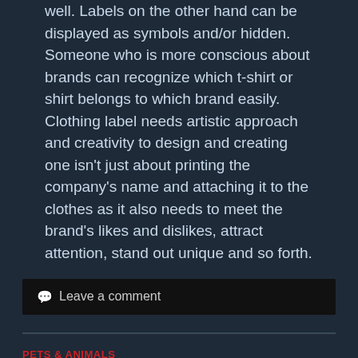well. Labels on the other hand can be displayed as symbols and/or hidden. Someone who is more conscious about brands can recognize which t-shirt or shirt belongs to which brand easily. Clothing label needs artistic approach and creativity to design and creating one isn't just about printing the company's name and attaching it to the clothes as it also needs to meet the brand's likes and dislikes, attract attention, stand out unique and so forth.
Leave a comment
PETS & ANIMALS
Where To Start with Services and More